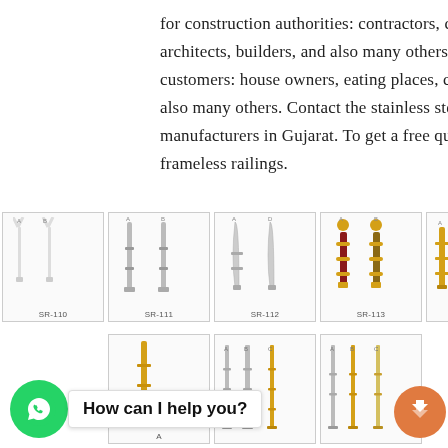for construction authorities: contractors, craftsmen, architects, builders, and also many others. And exclusive customers: house owners, eating places, contractors, and also many others. Contact the stainless steel railing manufacturers in Gujarat. To get a free quote for your frameless railings.
[Figure (photo): Grid of stainless steel railing post products. Row 1: SR-110 (two white Y-shaped posts labeled A and B), SR-111 (two silver cylindrical posts labeled A and B), SR-112 (two curved silver posts labeled A and D), SR-113 (two ornate gold and wood posts labeled A and B), SR-114 (two gold and wood posts labeled A and D). Row 2 (partially visible): additional railing posts in gold, silver, and mixed finishes with labels SR-115 to SR-119 range, multiple variants A B C D.]
[Figure (illustration): WhatsApp chat button (green circle with WhatsApp icon) with chat bubble saying 'How can I help you?' and orange scroll-to-top arrow button on the right.]